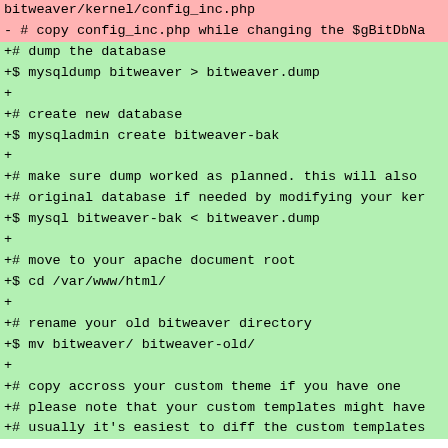bitweaver/kernel/config_inc.php
- # copy config_inc.php while changing the $gBitDbNa
+# dump the database
+$ mysqldump bitweaver > bitweaver.dump
+
+# create new database
+$ mysqladmin create bitweaver-bak
+
+# make sure dump worked as planned. this will also
+# original database if needed by modifying your ker
+$ mysql bitweaver-bak < bitweaver.dump
+
+# move to your apache document root
+$ cd /var/www/html/
+
+# rename your old bitweaver directory
+$ mv bitweaver/ bitweaver-old/
+
+# copy accross your custom theme if you have one
+# please note that your custom templates might have
+# usually it's easiest to diff the custom templates